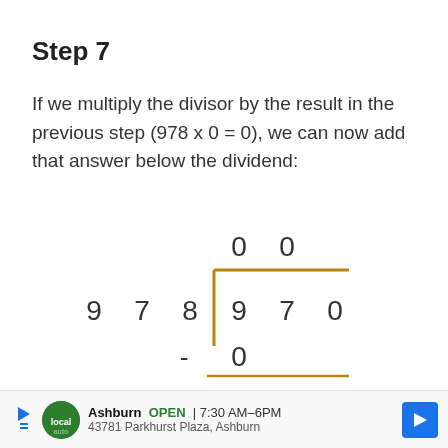Step 7
If we multiply the divisor by the result in the previous step (978 x 0 = 0), we can now add that answer below the dividend:
[Figure (math-figure): Long division diagram showing 970 divided by 978. Quotient digits 0 0 shown above. Divisor 978 on left with division bracket showing 9 7 0 inside. Subtraction of 0 shown below with a horizontal line.]
Ashburn  OPEN  7:30 AM–6PM  43781 Parkhurst Plaza, Ashburn